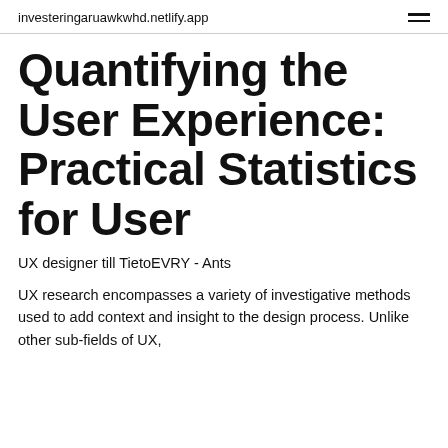investeringaruawkwhd.netlify.app
Quantifying the User Experience: Practical Statistics for User
UX designer till TietoEVRY - Ants
UX research encompasses a variety of investigative methods used to add context and insight to the design process. Unlike other sub-fields of UX,